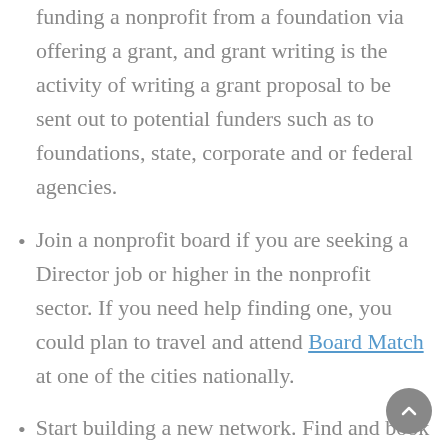funding a nonprofit from a foundation via offering a grant, and grant writing is the activity of writing a grant proposal to be sent out to potential funders such as to foundations, state, corporate and or federal agencies.
Join a nonprofit board if you are seeking a Director job or higher in the nonprofit sector. If you need help finding one, you could plan to travel and attend Board Match at one of the cities nationally.
Start building a new network. Find and book some informational interviews with nonprofit you are interested in. Use our network and contact people you know in the nonprofit sector. If you do not yet know anyone, plan on going to a nonprofit meetup or networking event locally near you. Then, try to